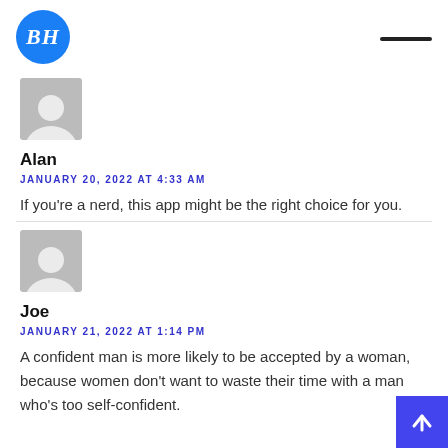BH
[Figure (illustration): Gray placeholder avatar icon for user Alan]
Alan
JANUARY 20, 2022 AT 4:33 AM
If you're a nerd, this app might be the right choice for you.
[Figure (illustration): Gray placeholder avatar icon for user Joe]
Joe
JANUARY 21, 2022 AT 1:14 PM
A confident man is more likely to be accepted by a woman, because women don't want to waste their time with a man who's too self-confident.